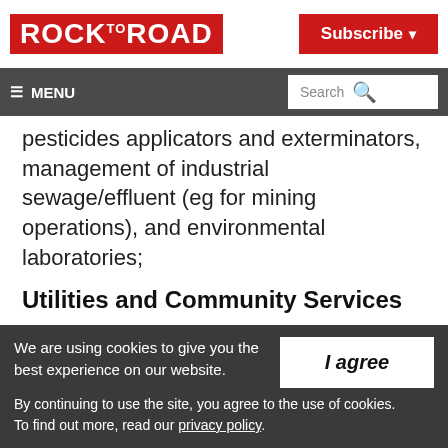ROCK TO ROAD | Subscribe
≡ MENU | Search
pesticides applicators and exterminators, management of industrial sewage/effluent (eg for mining operations), and environmental laboratories;
Utilities and Community Services
We are using cookies to give you the best experience on our website. By continuing to use the site, you agree to the use of cookies. To find out more, read our privacy policy.